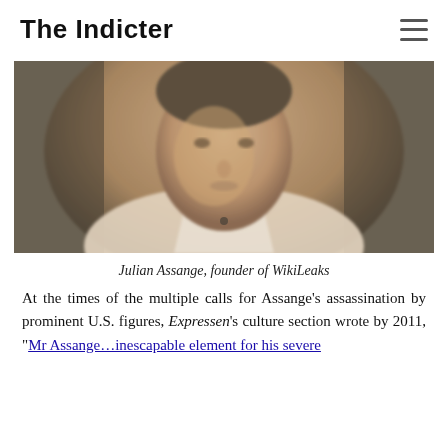The Indicter
[Figure (photo): Black and white / sepia toned photo of Julian Assange, founder of WikiLeaks, shown from shoulders up, slightly blurred, facing forward with collar visible.]
Julian Assange, founder of WikiLeaks
At the times of the multiple calls for Assange's assassination by prominent U.S. figures, Expressen's culture section wrote by 2011, "Mr Assange…inescapable element for his severe